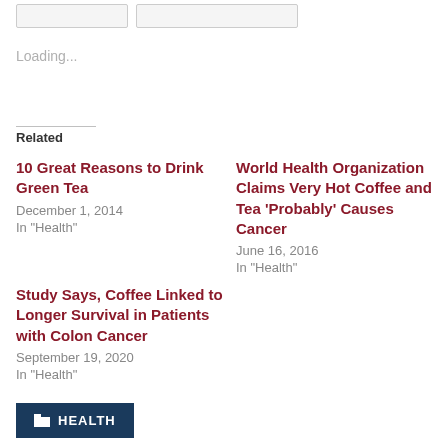Loading...
Related
10 Great Reasons to Drink Green Tea
December 1, 2014
In "Health"
World Health Organization Claims Very Hot Coffee and Tea ‘Probably’ Causes Cancer
June 16, 2016
In "Health"
Study Says, Coffee Linked to Longer Survival in Patients with Colon Cancer
September 19, 2020
In "Health"
📁 HEALTH